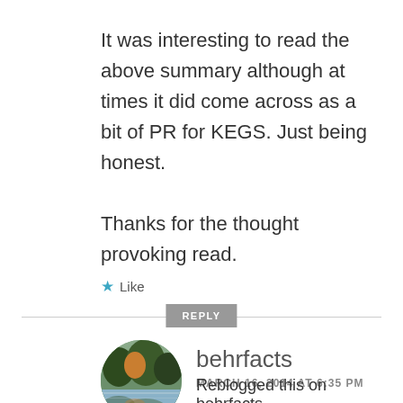It was interesting to read the above summary although at times it did come across as a bit of PR for KEGS. Just being honest.
Thanks for the thought provoking read.
★ Like
REPLY
[Figure (photo): Circular avatar photo showing a nature scene with trees and water reflection]
behrfacts
MARCH 16, 2014 AT 6:35 PM
Reblogged this on behrfacts.